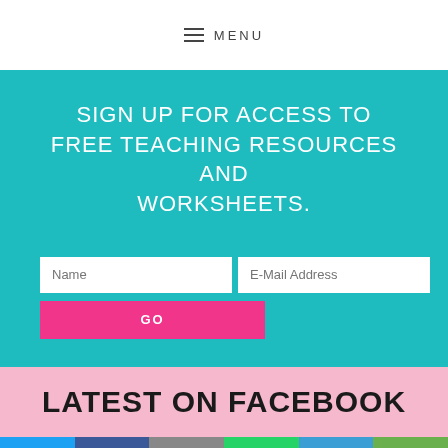MENU
SIGN UP FOR ACCESS TO FREE TEACHING RESOURCES AND WORKSHEETS.
[Figure (screenshot): Sign-up form with Name and E-Mail Address fields and a GO button]
LATEST ON FACEBOOK
[Figure (infographic): Social sharing bar with Twitter, Facebook, Email, WhatsApp, SMS, and another sharing icon]